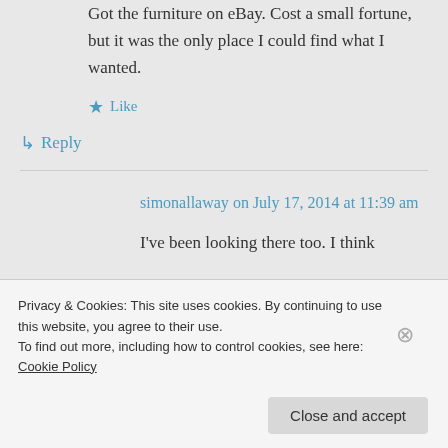Got the furniture on eBay. Cost a small fortune, but it was the only place I could find what I wanted.
★ Like
↳ Reply
simonallaway on July 17, 2014 at 11:39 am
I've been looking there too. I think
Privacy & Cookies: This site uses cookies. By continuing to use this website, you agree to their use.
To find out more, including how to control cookies, see here: Cookie Policy
Close and accept